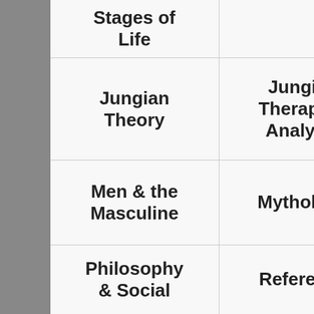Stages of Life
Jungian Theory
Jungian Therapy & Analysis
Men & the Masculine
Mythology
Philosophy & Social
Reference